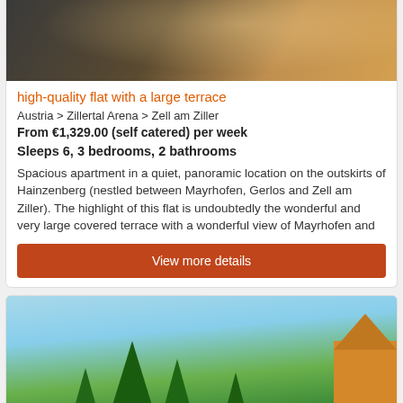[Figure (photo): Terrace photo showing wooden floor and metal chairs from above, warm tones]
high-quality flat with a large terrace
Austria > Zillertal Arena > Zell am Ziller
From €1,329.00 (self catered) per week
Sleeps 6, 3 bedrooms, 2 bathrooms
Spacious apartment in a quiet, panoramic location on the outskirts of Hainzenberg (nestled between Mayrhofen, Gerlos and Zell am Ziller). The highlight of this flat is undoubtedly the wonderful and very large covered terrace with a wonderful view of Mayrhofen and
View more details
[Figure (photo): Outdoor photo showing tall evergreen trees against a blue sky with a building visible on the right]